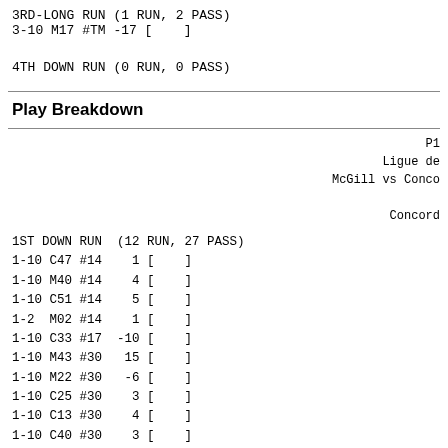3RD-LONG RUN  (1 RUN, 2 PASS)
3-10 M17 #TM -17 [    ]
4TH DOWN RUN  (0 RUN, 0 PASS)
Play Breakdown
P1
Ligue de
McGill vs Conco
Concord
1ST DOWN RUN  (12 RUN, 27 PASS)
1-10 C47 #14    1 [    ]
1-10 M40 #14    4 [    ]
1-10 C51 #14    5 [    ]
1-2  M02 #14    1 [    ]
1-10 C33 #17  -10 [    ]
1-10 M43 #30   15 [    ]
1-10 M22 #30   -6 [    ]
1-10 C25 #30    3 [    ]
1-10 C13 #30    4 [    ]
1-10 C40 #30    3 [    ]